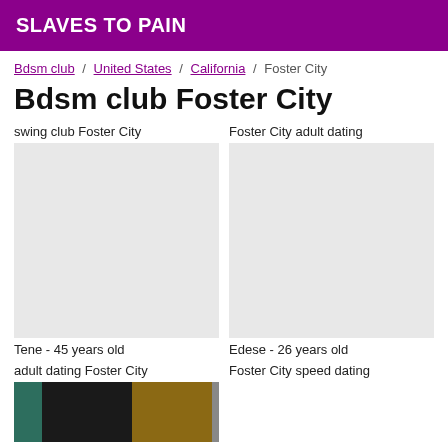SLAVES TO PAIN
Bdsm club / United States / California / Foster City
Bdsm club Foster City
swing club Foster City
Foster City adult dating
[Figure (photo): Empty profile placeholder left column]
[Figure (photo): Empty profile placeholder right column]
Tene - 45 years old
Edese - 26 years old
adult dating Foster City
Foster City speed dating
[Figure (photo): Photo showing a room with dark chair and furniture, bottom left]